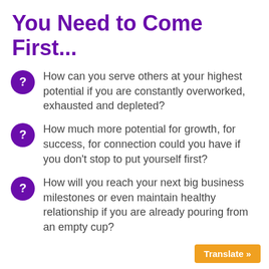You Need to Come First...
How can you serve others at your highest potential if you are constantly overworked, exhausted and depleted?
How much more potential for growth, for success, for connection could you have if you don't stop to put yourself first?
How will you reach your next big business milestones or even maintain healthy relationship if you are already pouring from an empty cup?